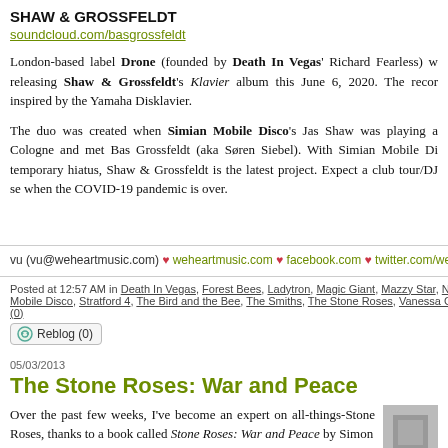SHAW & GROSSFELDT
soundcloud.com/basgrossfeldt
London-based label Drone (founded by Death In Vegas' Richard Fearless) w releasing Shaw & Grossfeldt's Klavier album this June 6, 2020. The recor inspired by the Yamaha Disklavier.
The duo was created when Simian Mobile Disco's Jas Shaw was playing a Cologne and met Bas Grossfeldt (aka Søren Siebel). With Simian Mobile Di temporary hiatus, Shaw & Grossfeldt is the latest project. Expect a club tour/DJ se when the COVID-19 pandemic is over.
vu (vu@weheartmusic.com) ♥ weheartmusic.com ♥ facebook.com ♥ twitter.com/wehear
Posted at 12:57 AM in Death In Vegas, Forest Bees, Ladytron, Magic Giant, Mazzy Star, New Or Mobile Disco, Stratford 4, The Bird and the Bee, The Smiths, The Stone Roses, Vanessa Carlton, (0)
Reblog (0)
05/03/2013
The Stone Roses: War and Peace
Over the past few weeks, I've become an expert on all-things-Stone Roses, thanks to a book called Stone Roses: War and Peace by Simon